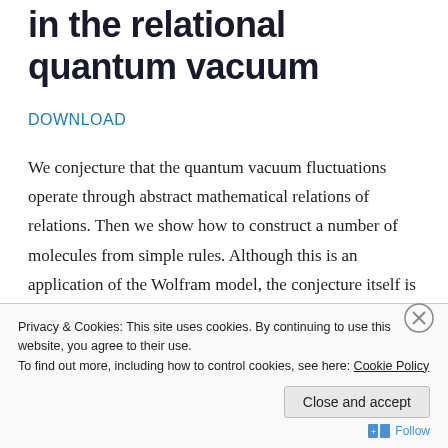in the relational quantum vacuum
DOWNLOAD
We conjecture that the quantum vacuum fluctuations operate through abstract mathematical relations of relations. Then we show how to construct a number of molecules from simple rules. Although this is an application of the Wolfram model, the conjecture itself is more general and therefore does not restrict to its
Privacy & Cookies: This site uses cookies. By continuing to use this website, you agree to their use. To find out more, including how to control cookies, see here: Cookie Policy
Close and accept